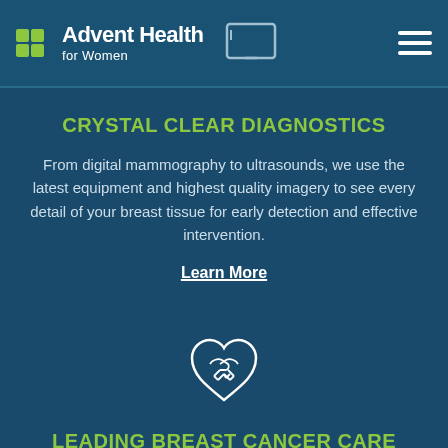[Figure (logo): AdventHealth for Women logo with green butterfly/cross icon, white text, and screen icon]
CRYSTAL CLEAR DIAGNOSTICS
From digital mammography to ultrasounds, we use the latest equipment and highest quality imagery to see every detail of your breast tissue for early detection and effective intervention.
Learn More
[Figure (illustration): White outline icon of hands shaking inside a heart shape]
LEADING BREAST CANCER CARE
Count on the team that has developed one of the most successful breast cancer programs in the country. We're here for you, your family, and your...